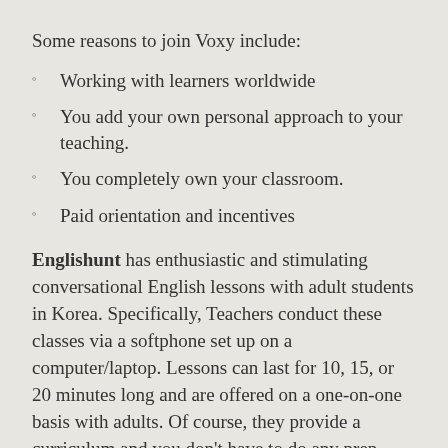Some reasons to join Voxy include:
Working with learners worldwide
You add your own personal approach to your teaching.
You completely own your classroom.
Paid orientation and incentives
Englishunt has enthusiastic and stimulating conversational English lessons with adult students in Korea. Specifically, Teachers conduct these classes via a softphone set up on a computer/laptop. Lessons can last for 10, 15, or 20 minutes long and are offered on a one-on-one basis with adults. Of course, they provide a curriculum and you don't have to do any prep work.